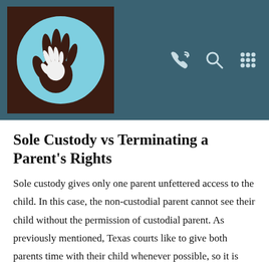[Figure (logo): Law firm logo: brown square with a blue circle containing brown hand and white child hand silhouettes]
Sole Custody vs Terminating a Parent's Rights
Sole custody gives only one parent unfettered access to the child. In this case, the non-custodial parent cannot see their child without the permission of custodial parent. As previously mentioned, Texas courts like to give both parents time with their child whenever possible, so it is highly unlikely that someone will end up with sole custody.
Usually, when it does happen, there has been some sort of abuse to the child, or the non-custodial parent has committed crimes that make them an unsafe guardian. If it is deemed that even a